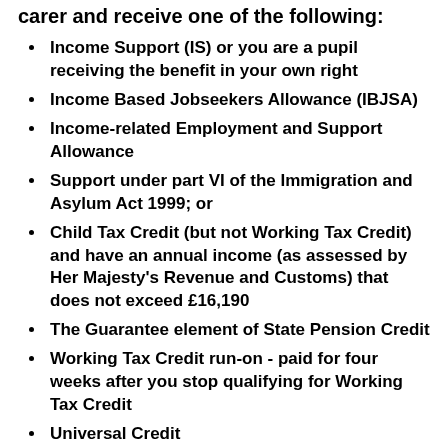carer and receive one of the following:
Income Support (IS) or you are a pupil receiving the benefit in your own right
Income Based Jobseekers Allowance (IBJSA)
Income-related Employment and Support Allowance
Support under part VI of the Immigration and Asylum Act 1999; or
Child Tax Credit (but not Working Tax Credit) and have an annual income (as assessed by Her Majesty's Revenue and Customs) that does not exceed £16,190
The Guarantee element of State Pension Credit
Working Tax Credit run-on - paid for four weeks after you stop qualifying for Working Tax Credit
Universal Credit